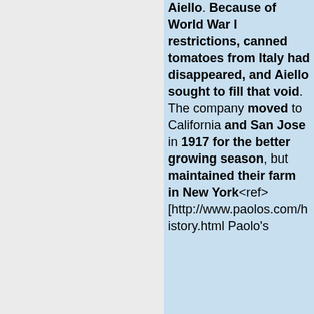Aiello. Because of World War I restrictions, canned tomatoes from Italy had disappeared, and Aiello sought to fill that void. The company moved to California and San Jose in 1917 for the better growing season, but maintained their farm in New York<ref>[http://www.paolos.com/history.html Paolo's